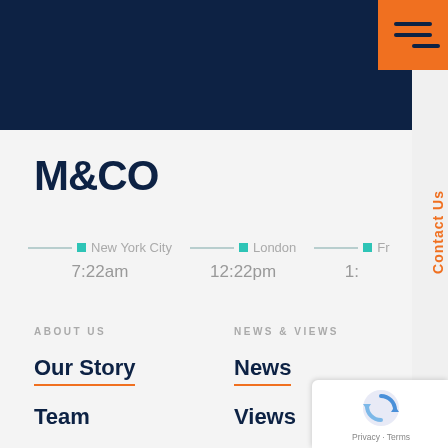[Figure (screenshot): Dark navy blue header bar with orange hamburger menu button (three horizontal lines) in top-right corner]
[Figure (logo): M&CO company logo in dark navy bold text]
Contact Us (vertical, orange)
New York City 7:22am
London 12:22pm
Fr... 1:...
ABOUT US
NEWS & VIEWS
Our Story
News
Team
Views